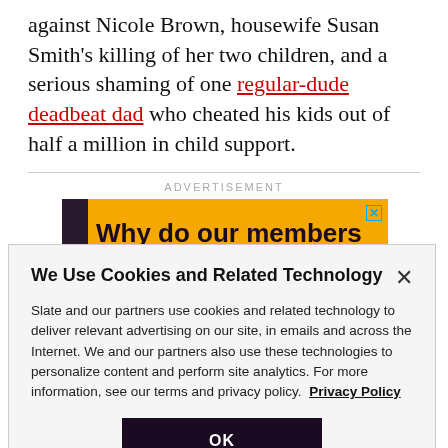against Nicole Brown, housewife Susan Smith's killing of her two children, and a serious shaming of one regular-dude deadbeat dad who cheated his kids out of half a million in child support.
ADVERTISEMENT
[Figure (other): Advertisement banner with dark left sidebar and yellow/gold background reading 'Why do our members']
We Use Cookies and Related Technology
Slate and our partners use cookies and related technology to deliver relevant advertising on our site, in emails and across the Internet. We and our partners also use these technologies to personalize content and perform site analytics. For more information, see our terms and privacy policy. Privacy Policy
OK